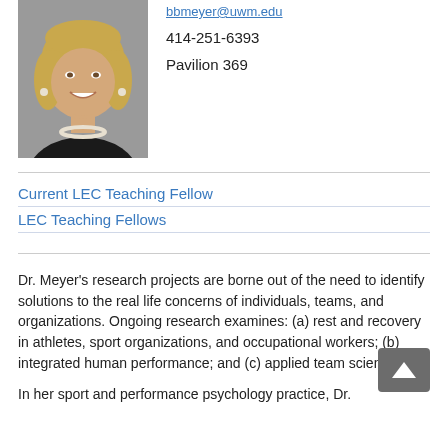[Figure (photo): Headshot photo of Dr. Meyer, a blonde woman smiling, wearing a dark blazer and pearl necklace, against a gray background.]
bbmeyer@uwm.edu
414-251-6393
Pavilion 369
Current LEC Teaching Fellow
LEC Teaching Fellows
Dr. Meyer's research projects are borne out of the need to identify solutions to the real life concerns of individuals, teams, and organizations. Ongoing research examines: (a) rest and recovery in athletes, sport organizations, and occupational workers; (b) integrated human performance; and (c) applied team science.
In her sport and performance psychology practice, Dr.